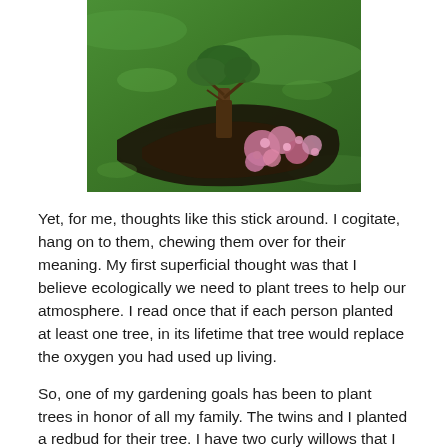[Figure (photo): Aerial or close-up view of a lush green lawn with a curved garden bed containing pink/purple flowering plants and a small tree trunk visible in the center.]
Yet, for me, thoughts like this stick around.  I cogitate, hang on to them, chewing them over for their meaning.  My first superficial thought was that I believe ecologically we need to plant trees to help our atmosphere.  I read once that if each person planted at least one tree, in its lifetime that tree would replace the oxygen you had used up living.
So, one of my gardening goals has been to plant trees in honor of all my family.  The twins and I planted a redbud for their tree.  I have two curly willows that I think of as